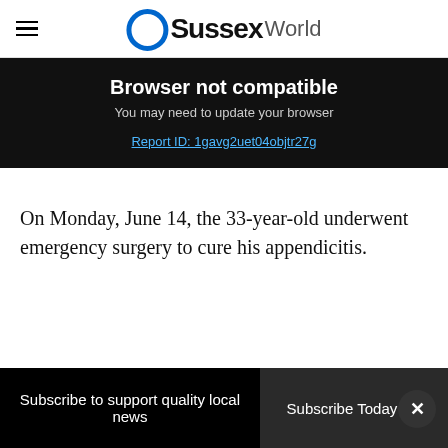OSussex World
Browser not compatible
You may need to update your browser
Report ID: 1gavg2uet04objtr27g
On Monday, June 14, the 33-year-old underwent emergency surgery to cure his appendicitis.
The operation was, thankfully, a success for Cox, but the operation has put him behind in his fit...
Subscribe to support quality local news | Subscribe Today